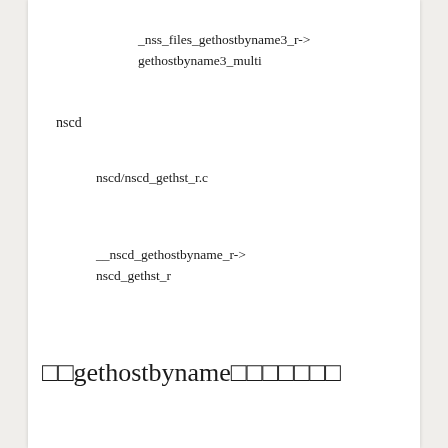_nss_files_gethostbyname3_r->gethostbyname3_multi
nscd
nscd/nscd_gethst_r.c
__nscd_gethostbyname_r->nscd_gethst_r
□□gethostbyname□□□□□□□